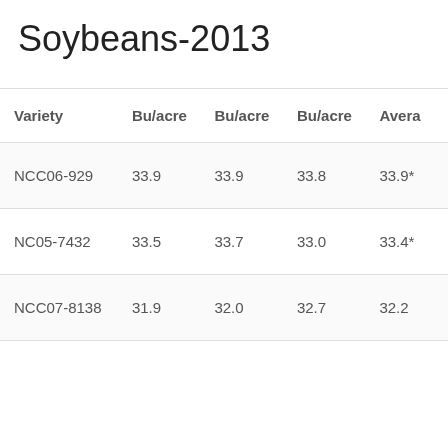Soybeans-2013
| Variety | Bu/acre | Bu/acre | Bu/acre | Avera |
| --- | --- | --- | --- | --- |
| NCC06-929 | 33.9 | 33.9 | 33.8 | 33.9* |
| NC05-7432 | 33.5 | 33.7 | 33.0 | 33.4* |
| NCC07-8138 | 31.9 | 32.0 | 32.7 | 32.2 |